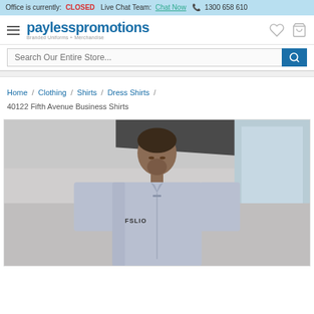Office is currently: CLOSED  Live Chat Team: Chat Now  📞 1300 658 610
[Figure (logo): Payless Promotions logo — bold blue text reading 'paylesspromotions' with tagline 'Branded Uniforms + Merchandise']
Search Our Entire Store...
Home / Clothing / Shirts / Dress Shirts / 40122 Fifth Avenue Business Shirts
[Figure (photo): Product photo of a man wearing a light grey short-sleeve business shirt with a small logo embroidered on the chest pocket, standing in a modern interior setting]